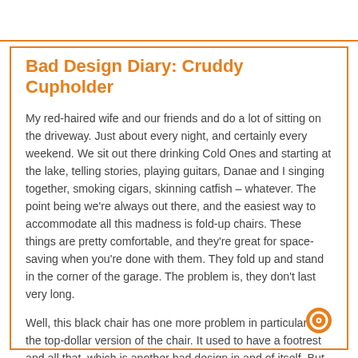Bad Design Diary: Cruddy Cupholder
My red-haired wife and our friends and do a lot of sitting on the driveway. Just about every night, and certainly every weekend. We sit out there drinking Cold Ones and starting at the lake, telling stories, playing guitars, Danae and I singing together, smoking cigars, skinning catfish – whatever. The point being we're always out there, and the easiest way to accommodate all this madness is fold-up chairs. These things are pretty comfortable, and they're great for space-saving when you're done with them. They fold up and stand in the corner of the garage. The problem is, they don't last very long.
Well, this black chair has one more problem in particular. It's the top-dollar version of the chair. It used to have a footrest and all that, which is another bad design in and of itself. But today we're going to talk about the cupholder. Have a looksee.
[Figure (other): Orange circle icon with a ring/record symbol in the bottom right corner]